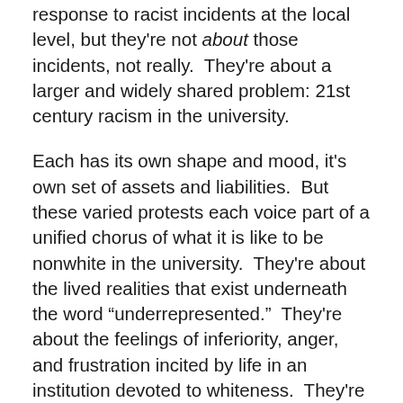response to racist incidents at the local level, but they're not about those incidents, not really.  They're about a larger and widely shared problem: 21st century racism in the university.
Each has its own shape and mood, it's own set of assets and liabilities.  But these varied protests each voice part of a unified chorus of what it is like to be nonwhite in the university.  They're about the lived realities that exist underneath the word “underrepresented.”  They're about the feelings of inferiority, anger, and frustration incited by life in an institution devoted to whiteness.  They're about that whiteness, an ideology our institutions do not see and, yet, can not see beyond.  They're about the expectation for something better from institutions that sell